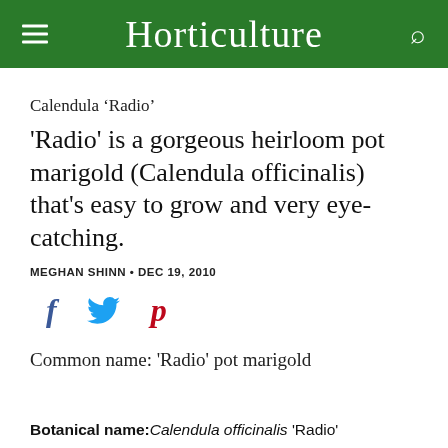Horticulture
Calendula 'Radio'
'Radio' is a gorgeous heirloom pot marigold (Calendula officinalis) that's easy to grow and very eye-catching.
MEGHAN SHINN • DEC 19, 2010
[Figure (infographic): Social media share icons: Facebook (f), Twitter (bird), Pinterest (p)]
Common name: 'Radio' pot marigold
Botanical name: Calendula officinalis 'Radio'